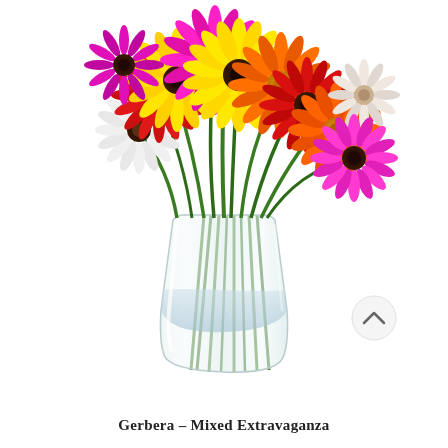[Figure (photo): A bouquet of colorful gerbera daisies in multiple colors (yellow, magenta/pink, orange, red, white) arranged in a clear glass vase with green stems visible through the water. White background.]
Gerbera – Mixed Extravaganza